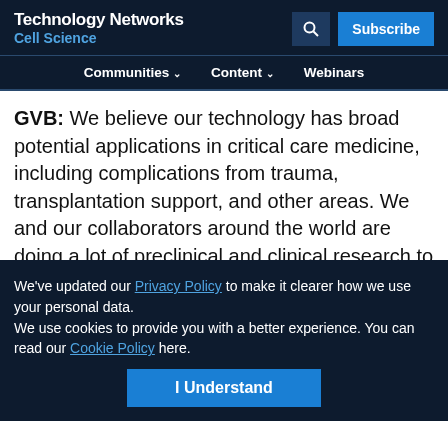Technology Networks
Cell Science
Communities ∨   Content ∨   Webinars
GVB: We believe our technology has broad potential applications in critical care medicine, including complications from trauma, transplantation support, and other areas. We and our collaborators around the world are doing a lot of preclinical and clinical research to explore the ways that MultiStem may help in a variety of indications, including neurological, cardiovascular disease, and inflammatory/immune disorders. This research has shown great promise...
We've updated our Privacy Policy to make it clearer how we use your personal data.
We use cookies to provide you with a better experience. You can read our Cookie Policy here.